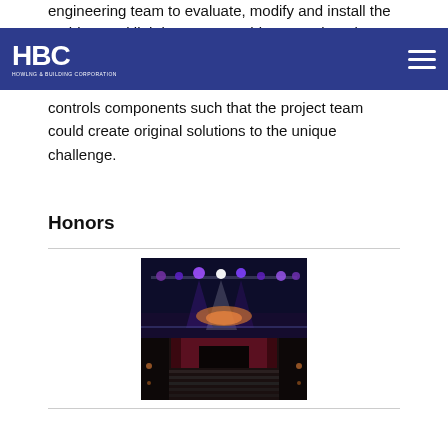engineering team to evaluate, modify and install the architectural lighting system. This necessitated
HBC - HOWLNG & BUILDING CORPORATION
controls components such that the project team could create original solutions to the unique challenge.
Honors
[Figure (photo): Interior view of a large performance venue or arena showing stage lighting rigs with purple/blue and white lights illuminating the stage area, with seating visible in the lower portion of the image.]